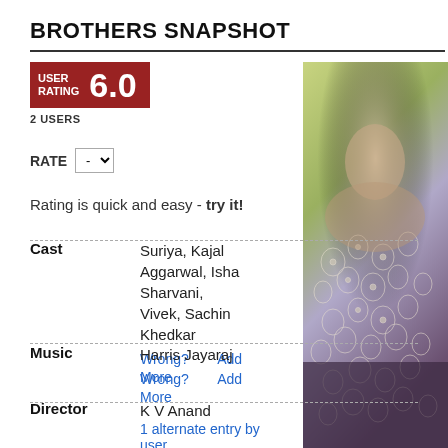BROTHERS SNAPSHOT
USER RATING 6.0
2 USERS
RATE -
Rating is quick and easy - try it!
| Field | Value |
| --- | --- |
| Cast | Suriya, Kajal Aggarwal, Isha Sharvani, Vivek, Sachin Khedkar |
| Music | Harris Jayaraj |
| Director | K V Anand
1 alternate entry by user |
[Figure (photo): Photograph of a woman in a white lace outfit, with an outdoor blurred greenery background]